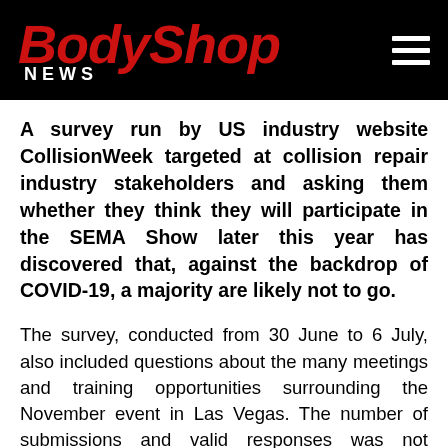BodyShop NEWS
A survey run by US industry website CollisionWeek targeted at collision repair industry stakeholders and asking them whether they think they will participate in the SEMA Show later this year has discovered that, against the backdrop of COVID-19, a majority are likely not to go.
The survey, conducted from 30 June to 6 July, also included questions about the many meetings and training opportunities surrounding the November event in Las Vegas. The number of submissions and valid responses was not disclosed.
According to CollisionWeek, 30 per cent of...